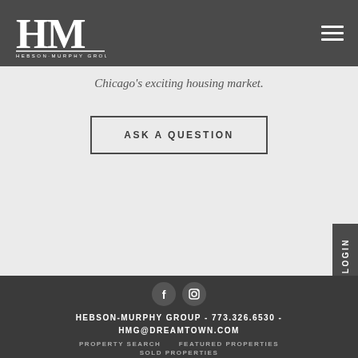[Figure (logo): HM Hebson-Murphy Group logo in white on dark gray header background]
Chicago's exciting housing market.
ASK A QUESTION
[Figure (illustration): Facebook and Instagram social media icons in dark circles]
HEBSON-MURPHY GROUP - 773.326.6530 - HMG@DREAMTOWN.COM
PROPERTY SEARCH     FEATURED PROPERTIES
SOLD PROPERTIES
LOGIN